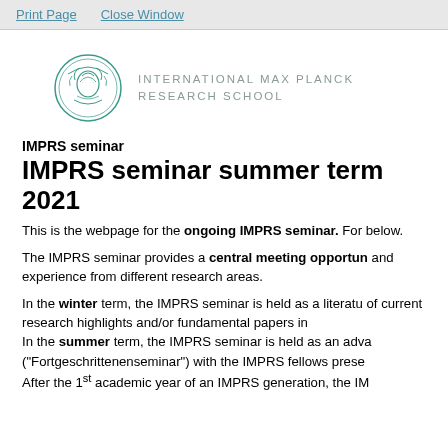Print Page   Close Window
[Figure (logo): International Max Planck Research School circular logo with a figure head, alongside the text INTERNATIONAL MAX PLANCK RESEARCH SCHOOL]
IMPRS seminar
IMPRS seminar summer term 2021
This is the webpage for the ongoing IMPRS seminar. For below.
The IMPRS seminar provides a central meeting opportun and experience from different research areas.
In the winter term, the IMPRS seminar is held as a literatu of current research highlights and/or fundamental papers in In the summer term, the IMPRS seminar is held as an adva ("Fortgeschrittenenseminar") with the IMPRS fellows prese After the 1st academic year of an IMPRS generation, the IM